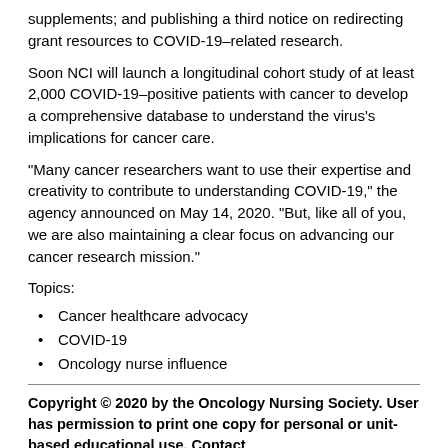supplements; and publishing a third notice on redirecting grant resources to COVID-19–related research.
Soon NCI will launch a longitudinal cohort study of at least 2,000 COVID-19–positive patients with cancer to develop a comprehensive database to understand the virus's implications for cancer care.
“Many cancer researchers want to use their expertise and creativity to contribute to understanding COVID-19,” the agency announced on May 14, 2020. “But, like all of you, we are also maintaining a clear focus on advancing our cancer research mission.”
Topics:
Cancer healthcare advocacy
COVID-19
Oncology nurse influence
Copyright © 2020 by the Oncology Nursing Society. User has permission to print one copy for personal or unit-based educational use. Contact pubpermissions@ons.org for quantity reprints.